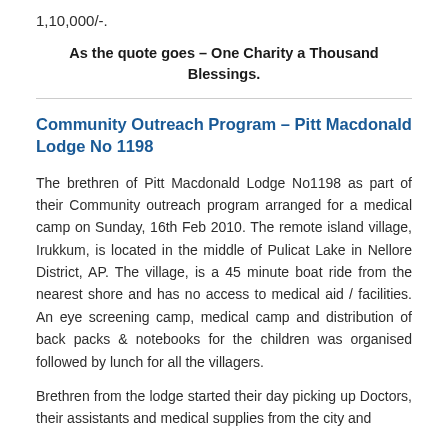1,10,000/-.
As the quote goes – One Charity a Thousand Blessings.
Community Outreach Program – Pitt Macdonald Lodge No 1198
The brethren of Pitt Macdonald Lodge No1198 as part of their Community outreach program arranged for a medical camp on Sunday, 16th Feb 2010. The remote island village, Irukkum, is located in the middle of Pulicat Lake in Nellore District, AP. The village, is a 45 minute boat ride from the nearest shore and has no access to medical aid / facilities. An eye screening camp, medical camp and distribution of back packs & notebooks for the children was organised followed by lunch for all the villagers.
Brethren from the lodge started their day picking up Doctors, their assistants and medical supplies from the city and